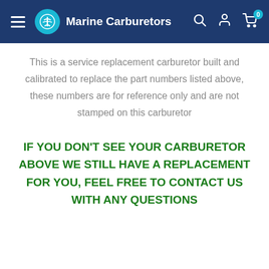Marine Carburetors
This is a service replacement carburetor built and calibrated to replace the part numbers listed above, these numbers are for reference only and are not stamped on this carburetor
IF YOU DON'T SEE YOUR CARBURETOR ABOVE WE STILL HAVE A REPLACEMENT FOR YOU, FEEL FREE TO CONTACT US WITH ANY QUESTIONS